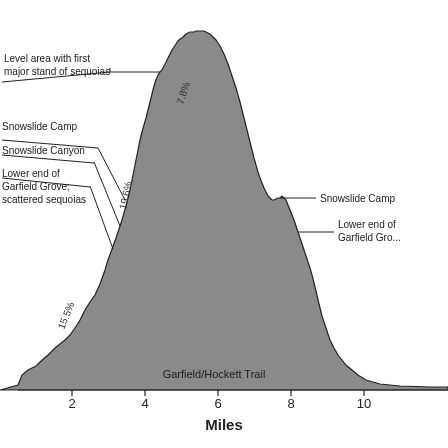[Figure (continuous-plot): Elevation profile diagram of the Garfield/Hockett Trail showing a mountain cross-section. The profile rises steeply from left (around mile 2-4) reaching a peak around mile 6, then descends to the right. Annotated with grade percentages: 7.8%, 19.6%, 15.5% on the left side, and trail landmarks including 'Level area with first major stand of sequoias', 'Snowslide Camp', 'Snowslide Canyon', 'Lower end of Garfield Grove; scattered sequoias' on the left, and 'Snowslide Camp', 'Lower end of Garfield Grove' on the right. X-axis shows Miles (2, 4, 6, 8, 10). Label at bottom center: 'Garfield/Hockett Trail'.]